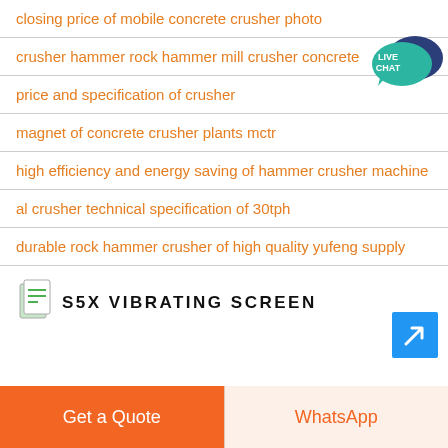closing price of mobile concrete crusher photo
crusher hammer rock hammer mill crusher concrete
price and specification of crusher
magnet of concrete crusher plants mctr
high efficiency and energy saving of hammer crusher machine
al crusher technical specification of 30tph
durable rock hammer crusher of high quality yufeng supply
[Figure (logo): Document/file icon with green and white pages]
S5X VIBRATING SCREEN
[Figure (other): Blue arrow button pointing top-right]
[Figure (other): Live Chat bubble badge in teal/dark blue]
Get a Quote
WhatsApp